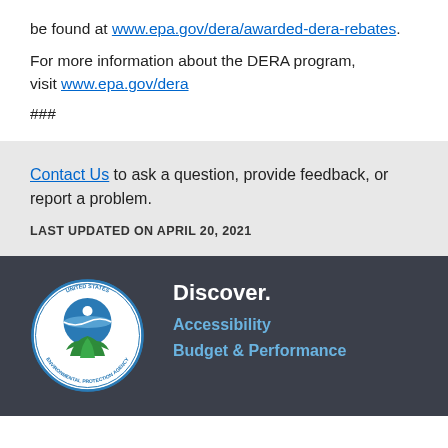be found at www.epa.gov/dera/awarded-dera-rebates.
For more information about the DERA program, visit www.epa.gov/dera
###
Contact Us to ask a question, provide feedback, or report a problem.
LAST UPDATED ON APRIL 20, 2021
[Figure (logo): United States Environmental Protection Agency circular seal logo with blue globe and green leaves]
Discover. Accessibility Budget & Performance